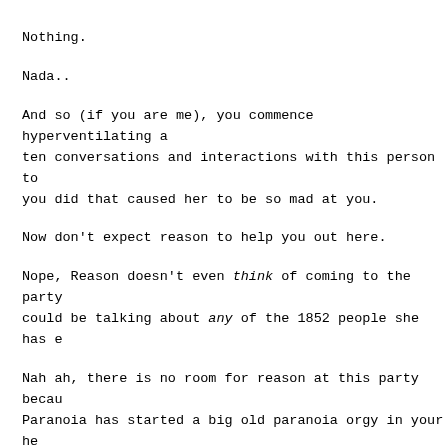Nothing.
Nada..
And so (if you are me), you commence hyperventilating a ten conversations and interactions with this person to you did that caused her to be so mad at you.
Now don't expect reason to help you out here.
Nope, Reason doesn't even think of coming to the party could be talking about any of the 1852 people she has e
Nah ah, there is no room for reason at this party becau Paranoia has started a big old paranoia orgy in your he already donned your own shackles and you are now far to apology letter... for something you don't know even kno done.
But....Paranoia says you did so you must have right?